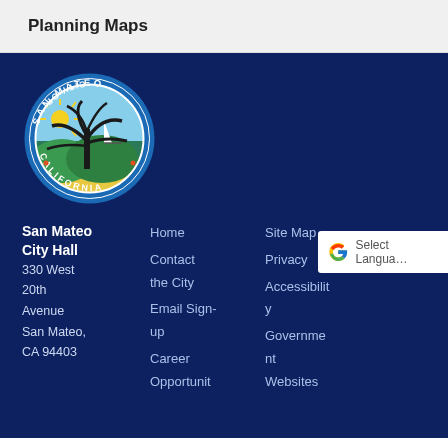Planning Maps
[Figure (logo): City of San Mateo California official seal — circular seal with a tree, sailboat, water, and sun, surrounded by text 'CITY OF SAN MATEO CALIFORNIA']
San Mateo City Hall
330 West 20th Avenue
San Mateo, CA 94403
Home
Contact the City
Email Sign-up
Career Opportunit
Site Map
Privacy
Accessibility
Government Websites